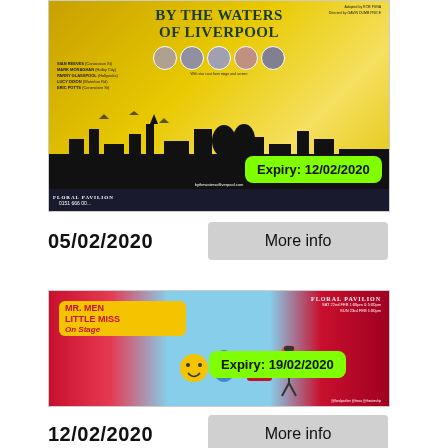[Figure (photo): Poster for 'By the Waters of Liverpool' at Floral Pavilion, showing silhouette couple against golden background with cast details, featuring an Expiry: 12/02/2020 badge]
05/02/2020
More info
[Figure (photo): Poster for Mr. Men Little Miss On Stage at Floral Pavilion, colorful children's show poster with Expiry: 19/02/2020 badge]
12/02/2020
More info